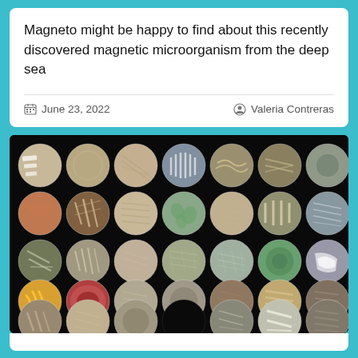Magneto might be happy to find about this recently discovered magnetic microorganism from the deep sea
June 23, 2022   Valeria Contreras
[Figure (photo): Grid of petri dishes on black background showing various microbial cultures with different colony patterns, colors, and textures — approximately 5 rows of 7 petri dishes each displaying diverse microorganism growth patterns]